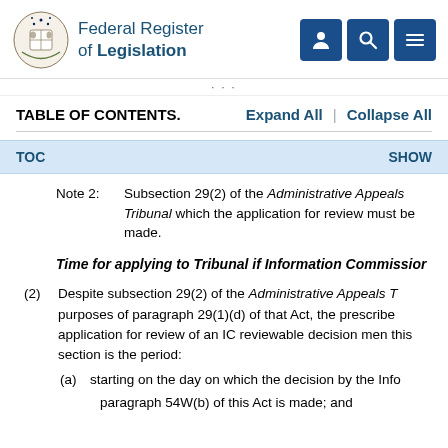Federal Register of Legislation
TABLE OF CONTENTS.   Expand All   |   Collapse All
TOC   SHOW
Note 2:   Subsection 29(2) of the Administrative Appeals Tribunal which the application for review must be made.
Time for applying to Tribunal if Information Commissioner
(2) Despite subsection 29(2) of the Administrative Appeals T purposes of paragraph 29(1)(d) of that Act, the prescribed application for review of an IC reviewable decision men this section is the period:
(a) starting on the day on which the decision by the Info paragraph 54W(b) of this Act is made; and